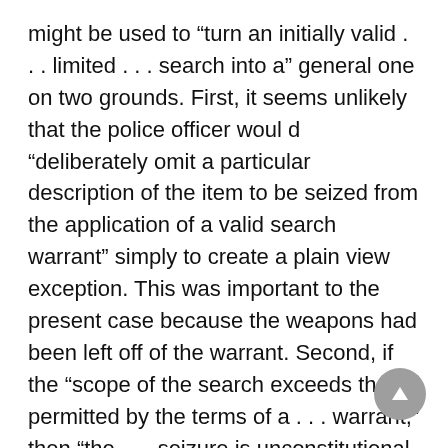might be used to “turn an initially valid . . . limited . . . search into a” general one on two grounds. First, it seems unlikely that the police officer would “deliberately omit a particular description of the item to be seized from the application of a valid search warrant” simply to create a plain view exception. This was important to the present case because the weapons had been left off of the warrant. Second, if the “scope of the search exceeds that permitted by the terms of a . . . warrant,” then “the . . . seizure is unconstitutional without more.”
Dissent. The dissent argued that the “inadvertent discovery requirement . . . does protect possessory